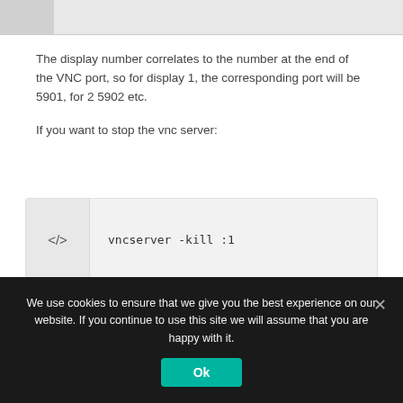[Figure (screenshot): Top navigation/header strip partially visible]
The display number correlates to the number at the end of the VNC port, so for display 1, the corresponding port will be 5901, for 2 5902 etc.
If you want to stop the vnc server:
vncserver -kill :1
Where ':1' refers to the display you are trying to stop. To stop the server on port 5902 you will need to use the command:
We use cookies to ensure that we give you the best experience on our website. If you continue to use this site we will assume that you are happy with it.